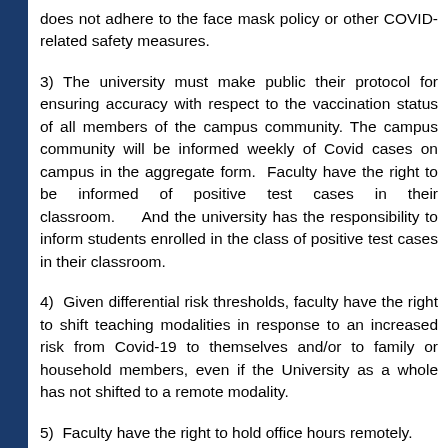does not adhere to the face mask policy or other COVID-related safety measures.
3) The university must make public their protocol for ensuring accuracy with respect to the vaccination status of all members of the campus community. The campus community will be informed weekly of Covid cases on campus in the aggregate form.  Faculty have the right to be informed of positive test cases in their classroom.     And the university has the responsibility to inform students enrolled in the class of positive test cases in their classroom.
4)  Given differential risk thresholds, faculty have the right to shift teaching modalities in response to an increased risk from Covid-19 to themselves and/or to family or household members, even if the University as a whole has not shifted to a remote modality.
5)  Faculty have the right to hold office hours remotely.